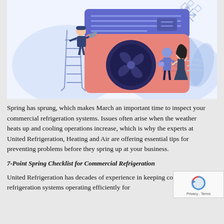[Figure (illustration): Vector illustration of commercial refrigeration/HVAC unit (large orange machine with fan, blue AC panel on top) with workers: one technician on a ladder with a wrench, and two people (man and woman) standing to the right pointing at the unit. Background has light blue cloud/leaf shapes and a snowflake icon.]
Spring has sprung, which makes March an important time to inspect your commercial refrigeration systems.  Issues often arise when the weather heats up and cooling operations increase, which is why the experts at United Refrigeration, Heating and Air are offering essential tips for preventing problems before they spring up at your business.
7-Point Spring Checklist for Commercial Refrigeration
United Refrigeration has decades of experience in keeping commercial refrigeration systems operating efficiently for